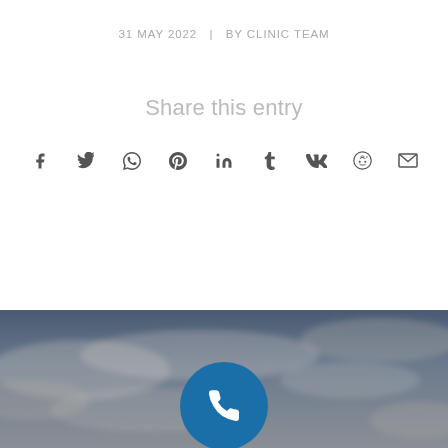31 MAY 2022   |   BY CLINIC TEAM
Share this entry
[Figure (infographic): Social share icons row: Facebook, Twitter, WhatsApp, Pinterest, LinkedIn, Tumblr, VK, Reddit, Email]
[Figure (photo): Cloudy sky background photo with a blue circular phone/call button in the center-bottom]